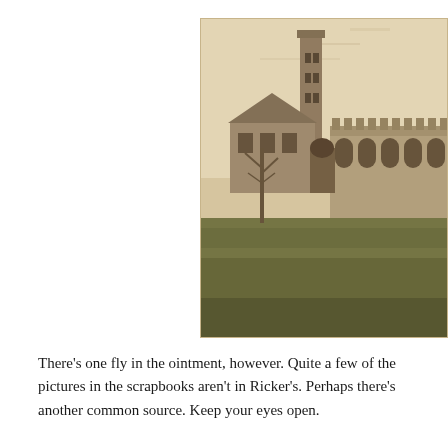[Figure (photo): Sepia-toned historical photograph of a brick building complex with a tall chimney or tower in the center, and a large arched-window facade on the right. A grassy field is in the foreground. Bare trees are visible. The photo appears to be from the late 19th or early 20th century.]
There's one fly in the ointment, however. Quite a few of the pictures in the scrapbooks aren't in Ricker's. Perhaps there's another common source. Keep your eyes open.